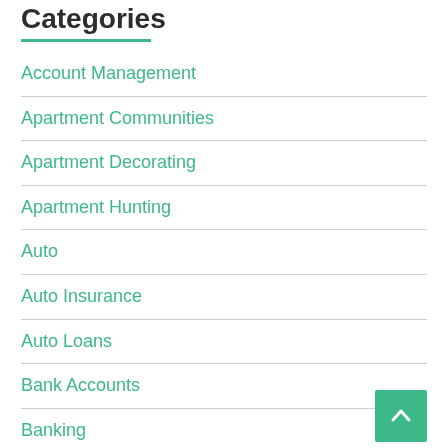Categories
Account Management
Apartment Communities
Apartment Decorating
Apartment Hunting
Auto
Auto Insurance
Auto Loans
Bank Accounts
Banking
Borrowing Money
Breaking News
Budgeting